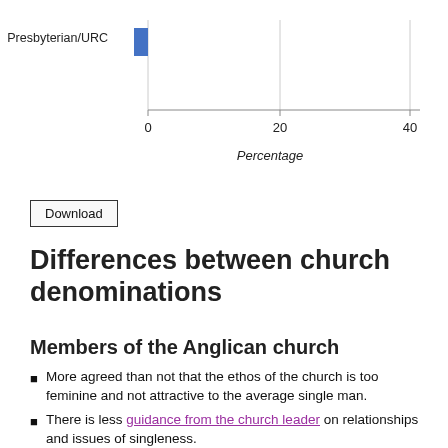[Figure (bar-chart): ]
Download
Differences between church denominations
Members of the Anglican church
More agreed than not that the ethos of the church is too feminine and not attractive to the average single man.
There is less guidance from the church leader on relationships and issues of singleness.
Far fewer (39%) say that they have heard their